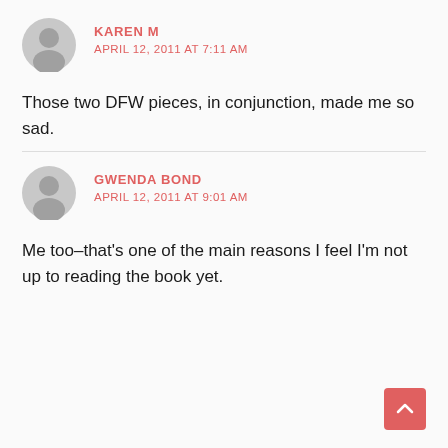KAREN M
APRIL 12, 2011 AT 7:11 AM
Those two DFW pieces, in conjunction, made me so sad.
GWENDA BOND
APRIL 12, 2011 AT 9:01 AM
Me too–that's one of the main reasons I feel I'm not up to reading the book yet.